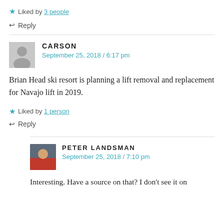★ Liked by 3 people
↩ Reply
CARSON
September 25, 2018 / 6:17 pm
Brian Head ski resort is planning a lift removal and replacement for Navajo lift in 2019.
★ Liked by 1 person
↩ Reply
PETER LANDSMAN
September 25, 2018 / 7:10 pm
Interesting. Have a source on that? I don't see it on